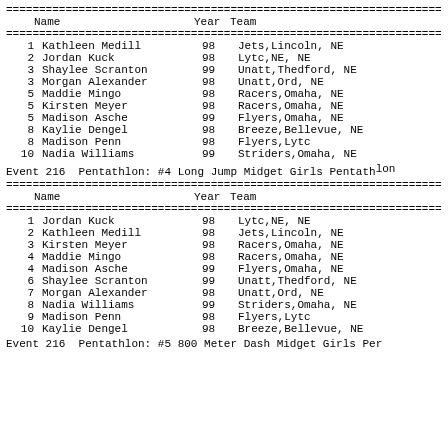| Place | Name | Year | Team |
| --- | --- | --- | --- |
| 1 | Kathleen Medill | 98 | Jets,Lincoln, NE |
| 2 | Jordan Kuck | 98 | Lytc,NE, NE |
| 3 | Shaylee Scranton | 99 | Unatt,Thedford, NE |
| 3 | Morgan Alexander | 98 | Unatt,Ord, NE |
| 5 | Maddie Mingo | 98 | Racers,Omaha, NE |
| 5 | Kirsten Meyer | 98 | Racers,Omaha, NE |
| 5 | Madison Asche | 99 | Flyers,Omaha, NE |
| 8 | Kaylie Dengel | 98 | Breeze,Bellevue, NE |
| 8 | Madison Penn | 98 | Flyers,Lytc |
| 10 | Nadia Williams | 99 | Striders,Omaha, NE |
Event 216  Pentathlon: #4 Long Jump Midget Girls Pentath...
| Place | Name | Year | Team |
| --- | --- | --- | --- |
| 1 | Jordan Kuck | 98 | Lytc,NE, NE |
| 2 | Kathleen Medill | 98 | Jets,Lincoln, NE |
| 3 | Kirsten Meyer | 98 | Racers,Omaha, NE |
| 4 | Maddie Mingo | 98 | Racers,Omaha, NE |
| 4 | Madison Asche | 99 | Flyers,Omaha, NE |
| 6 | Shaylee Scranton | 99 | Unatt,Thedford, NE |
| 7 | Morgan Alexander | 98 | Unatt,Ord, NE |
| 8 | Nadia Williams | 99 | Striders,Omaha, NE |
| 9 | Madison Penn | 98 | Flyers,Lytc |
| 10 | Kaylie Dengel | 98 | Breeze,Bellevue, NE |
Event 216  Pentathlon: #5 800 Meter Dash Midget Girls Per...